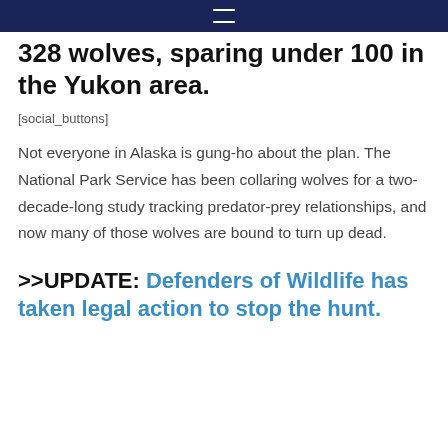≡
328 wolves, sparing under 100 in the Yukon area.
[social_buttons]
Not everyone in Alaska is gung-ho about the plan. The National Park Service has been collaring wolves for a two-decade-long study tracking predator-prey relationships, and now many of those wolves are bound to turn up dead.
>>UPDATE: Defenders of Wildlife has taken legal action to stop the hunt.